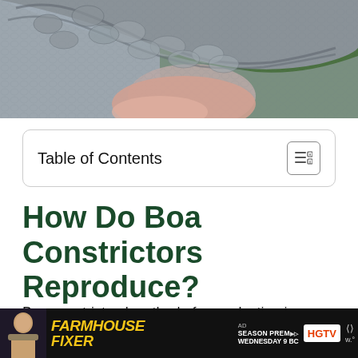[Figure (photo): Close-up photo of a boa constrictor snake being held, showing grey and brown scales with a pink/green background]
Table of Contents
How Do Boa Constrictors Reproduce?
Boa constrictors' method of reproduction is almost strictly sexual; however, at least one case of asexual reproduction is reported in a b
[Figure (screenshot): Advertisement banner for HGTV Farmhouse Fixer Season Premiere Wednesday 9 BC]